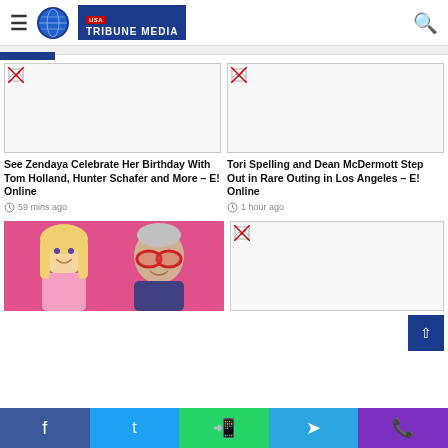USA Tribune Media
[Figure (photo): Broken image placeholder for first article (Zendaya birthday)]
See Zendaya Celebrate Her Birthday With Tom Holland, Hunter Schafer and More – E! Online
59 mins ago
[Figure (photo): Broken image placeholder for second article (Tori Spelling)]
Tori Spelling and Dean McDermott Step Out in Rare Outing in Los Angeles – E! Online
1 hour ago
[Figure (photo): Photo of two people - a woman with blonde hair and a man with glasses and red-framed sunglasses]
[Figure (photo): Broken image placeholder for fourth article]